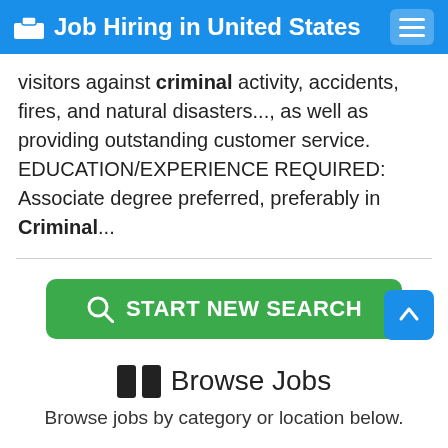Job Hiring in United States
visitors against criminal activity, accidents, fires, and natural disasters..., as well as providing outstanding customer service. EDUCATION/EXPERIENCE REQUIRED: Associate degree preferred, preferably in Criminal...
[Figure (other): Green button labeled START NEW SEARCH with a magnifying glass icon]
[Figure (other): Blue scroll-to-top button with upward arrow]
Browse Jobs
Browse jobs by category or location below.